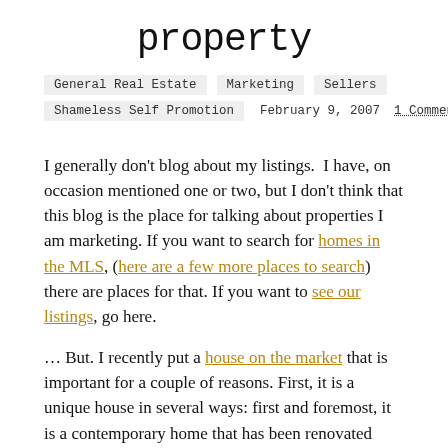property
General Real Estate
Marketing
Sellers
Shameless Self Promotion
February 9, 2007  1 Comment
I generally don't blog about my listings. I have, on occasion mentioned one or two, but I don't think that this blog is the place for talking about properties I am marketing. If you want to search for homes in the MLS, (here are a few more places to search) there are places for that. If you want to see our listings, go here.
… But. I recently put a house on the market that is important for a couple of reasons. First, it is a unique house in several ways: first and foremost, it is a contemporary home that has been renovated with extraordinary detail – the list of which is extensive. Second, it is the rare home in which the owners have aggressively and pre-